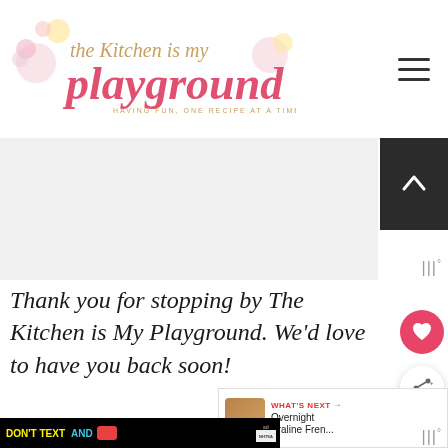The Kitchen is My Playground - HAVING FUN, ONE RECIPE AT A TIME
[Figure (screenshot): Advertisement banner area (gray placeholder)]
Thank you for stopping by The Kitchen is My Playground. We'd love to have you back soon!
[Figure (infographic): WHAT'S NEXT arrow with thumbnail of Overnight Praline Fren... and partial content preview below]
[Figure (infographic): DON'T TEXT AND [car emoji] advertisement with NHTSA logo at bottom of page]